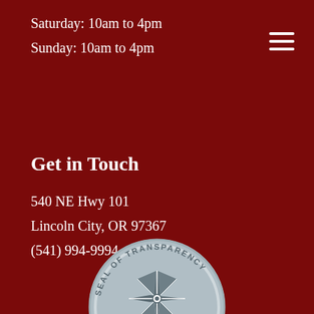Saturday: 10am to 4pm
Sunday: 10am to 4pm
Get in Touch
540 NE Hwy 101
Lincoln City, OR 97367
(541) 994-9994
[Figure (logo): GuideStar 2019 Platinum Seal of Transparency badge — circular seal with compass rose design, text reading SEAL OF TRANSPARENCY around the top arc, 2019 PLATINUM in the center band, and GuideStar at the bottom]